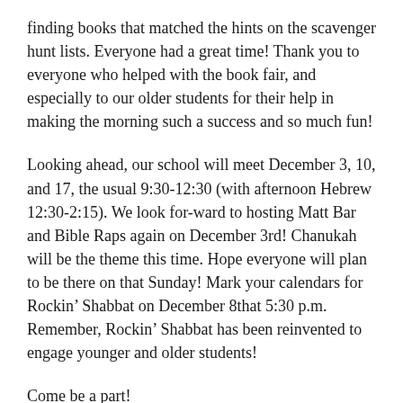finding books that matched the hints on the scavenger hunt lists. Everyone had a great time! Thank you to everyone who helped with the book fair, and especially to our older students for their help in making the morning such a success and so much fun!
Looking ahead, our school will meet December 3, 10, and 17, the usual 9:30-12:30 (with afternoon Hebrew 12:30-2:15). We look for-ward to hosting Matt Bar and Bible Raps again on December 3rd! Chanukah will be the theme this time. Hope everyone will plan to be there on that Sunday! Mark your calendars for Rockin’ Shabbat on December 8that 5:30 p.m. Remember, Rockin’ Shabbat has been reinvented to engage younger and older students!
Come be a part!